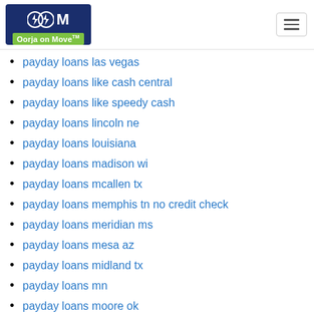Oorja on Move
payday loans las vegas
payday loans like cash central
payday loans like speedy cash
payday loans lincoln ne
payday loans louisiana
payday loans madison wi
payday loans mcallen tx
payday loans memphis tn no credit check
payday loans meridian ms
payday loans mesa az
payday loans midland tx
payday loans mn
payday loans moore ok
payday loans nashville
payday loans nashville tn
payday loans near me